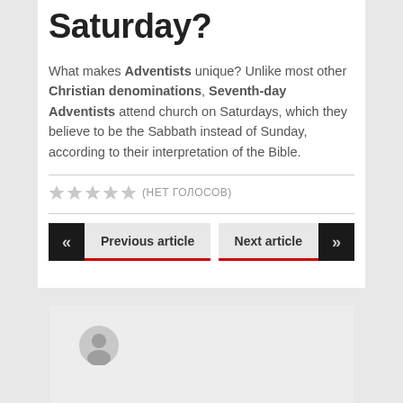Saturday?
What makes Adventists unique? Unlike most other Christian denominations, Seventh-day Adventists attend church on Saturdays, which they believe to be the Sabbath instead of Sunday, according to their interpretation of the Bible.
(нет голосов)
Previous article
Next article
[Figure (illustration): User avatar placeholder circle icon]